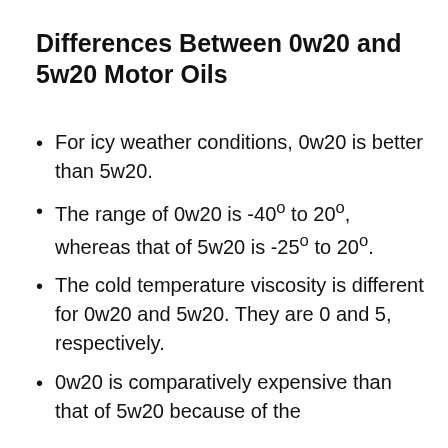Differences Between 0w20 and 5w20 Motor Oils
For icy weather conditions, 0w20 is better than 5w20.
The range of 0w20 is -40° to 20°, whereas that of 5w20 is -25° to 20°.
The cold temperature viscosity is different for 0w20 and 5w20. They are 0 and 5, respectively.
0w20 is comparatively expensive than that of 5w20 because of the